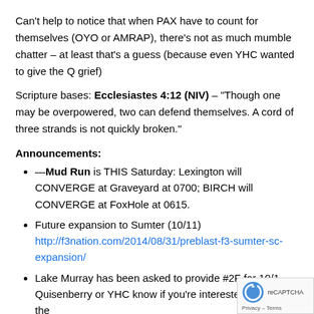Can't help to notice that when PAX have to count for themselves (OYO or AMRAP), there's not as much mumble chatter – at least that's a guess (because even YHC wanted to give the Q grief)
Scripture bases: Ecclesiastes 4:12 (NIV) – "Though one may be overpowered, two can defend themselves. A cord of three strands is not quickly broken."
Announcements:
—Mud Run is THIS Saturday: Lexington will CONVERGE at Graveyard at 0700; BIRCH will CONVERGE at FoxHole at 0615.
Future expansion to Sumter (10/11) http://f3nation.com/2014/08/31/preblast-f3-sumter-sc-expansion/
Lake Murray has been asked to provide #2F for 10/1... Quisenberry or YHC know if you're interested in making the